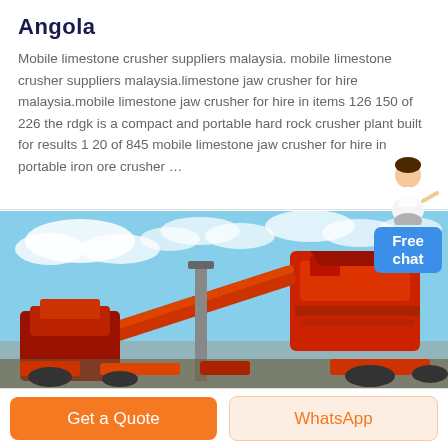Angola
Mobile limestone crusher suppliers malaysia. mobile limestone crusher suppliers malaysia.limestone jaw crusher for hire malaysia.mobile limestone jaw crusher for hire in items 126 150 of 226 the rdgk is a compact and portable hard rock crusher plant built for results 1 20 of 845 mobile limestone jaw crusher for hire in portable iron ore crusher …
[Figure (photo): Photo of red mobile crushing plant machinery against a blue cloudy sky]
Get a Quote
WhatsApp